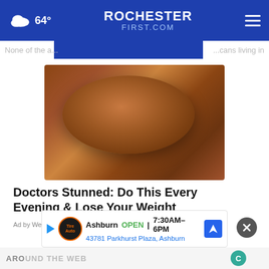64° ROCHESTERFIRST.COM
None of the a... ...cans living in
[Figure (photo): Close-up photo of a mound of brown powdered spice on a wooden spoon against a marble background]
Doctors Stunned: Do This Every Evening & Lose Your Weight
Ad by Weight loss
[Figure (other): Advertisement banner: Tire Auto logo, Ashburn OPEN 7:30AM-6PM, 43781 Parkhurst Plaza, Ashburn with navigation icon]
ARO UND THE WEB